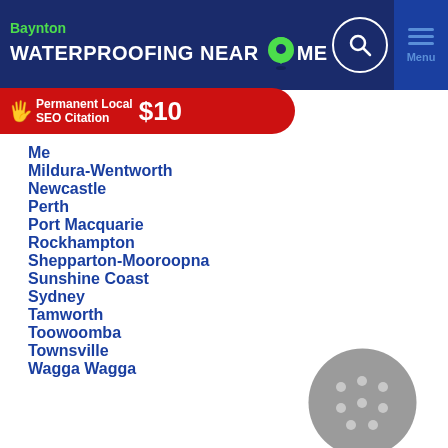Baynton WATERPROOFING NEAR ME
[Figure (infographic): Red promotional banner: Permanent Local SEO Citation $10]
Me[lbourne] (partially obscured)
Mildura-Wentworth
Newcastle
Perth
Port Macquarie
Rockhampton
Shepparton-Mooroopna
Sunshine Coast
Sydney
Tamworth
Toowoomba
Townsville
Wagga Wagga
[Figure (illustration): Gray circular decorative element with dot pattern]